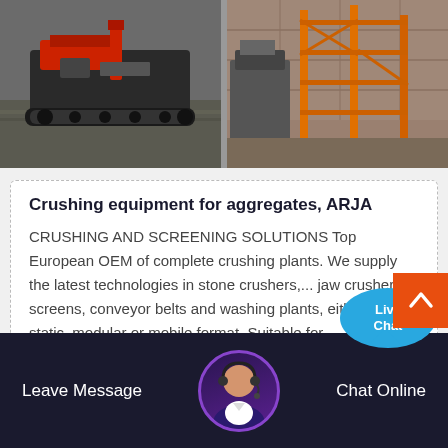[Figure (photo): Two side-by-side industrial photos: left shows a tracked crushing machine on gravel ground, right shows a stone crushing plant with orange scaffolding and machinery]
Crushing equipment for aggregates, ARJA
CRUSHING AND SCREENING SOLUTIONS Top European OEM of complete crushing plants. We supply the latest technologies in stone crushers,... jaw crushers, screens, conveyor belts and washing plants, either in static, modular or mobile format. Suitable for
[Figure (screenshot): Live Chat bubble overlay in blue with 'Live Chat' text and a close X button]
Leave Message  Chat Online